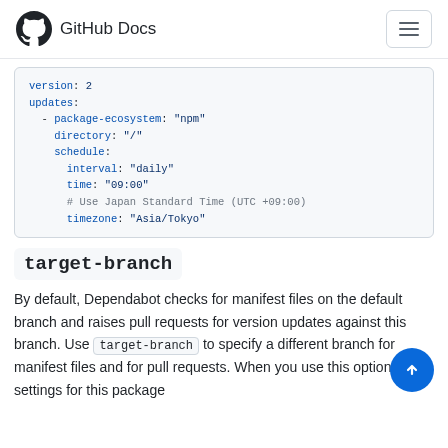GitHub Docs
[Figure (screenshot): Code block showing YAML configuration with version, updates, package-ecosystem npm, directory, schedule interval daily, time 09:00, comment Use Japan Standard Time (UTC +09:00), timezone Asia/Tokyo]
target-branch
By default, Dependabot checks for manifest files on the default branch and raises pull requests for version updates against this branch. Use target-branch to specify a different branch for manifest files and for pull requests. When you use this option, the settings for this package